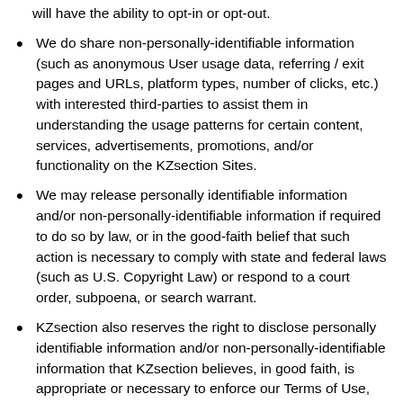will have the ability to opt-in or opt-out.
We do share non-personally-identifiable information (such as anonymous User usage data, referring / exit pages and URLs, platform types, number of clicks, etc.) with interested third-parties to assist them in understanding the usage patterns for certain content, services, advertisements, promotions, and/or functionality on the KZsection Sites.
We may release personally identifiable information and/or non-personally-identifiable information if required to do so by law, or in the good-faith belief that such action is necessary to comply with state and federal laws (such as U.S. Copyright Law) or respond to a court order, subpoena, or search warrant.
KZsection also reserves the right to disclose personally identifiable information and/or non-personally-identifiable information that KZsection believes, in good faith, is appropriate or necessary to enforce our Terms of Use, take precautions against liability, to investigate and defend itself against any third-party claims or allegations, to assist government enforcement agencies, to protect the security or integrity of our web site, and to protect the rights, property, or personal safety of KZsection,